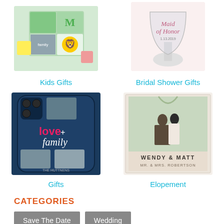[Figure (photo): Photo puzzle product image showing family photos arranged in a grid with a green letter M, with puzzle pieces scattered around. Kids Gifts product image.]
[Figure (photo): Stemless wine glass with pink script text reading 'Maid of Honor' and date. Bridal Shower Gifts product image.]
Kids Gifts
Bridal Shower Gifts
[Figure (photo): Dark navy blue phone case with colorful text reading 'love+ family' and family photos. Text at bottom reads 'THE HUTTNENS'. Gifts product image.]
[Figure (photo): Wedding photo book/album showing couple kissing at outdoor ceremony with floral arch. Text reads 'WENDY & MATT, MR. & MRS. ROBERTSON'. Elopement product image.]
Gifts
Elopement
CATEGORIES
Save The Date
Wedding
TAGS